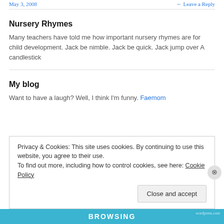May 3, 2008  ←  Leave a Reply
Nursery Rhymes
Many teachers have told me how important nursery rhymes are for child development. Jack be nimble. Jack be quick. Jack jump over A candlestick
My blog
Want to have a laugh? Well, I think I'm funny. Faemom
Privacy & Cookies: This site uses cookies. By continuing to use this website, you agree to their use.
To find out more, including how to control cookies, see here: Cookie Policy
Close and accept